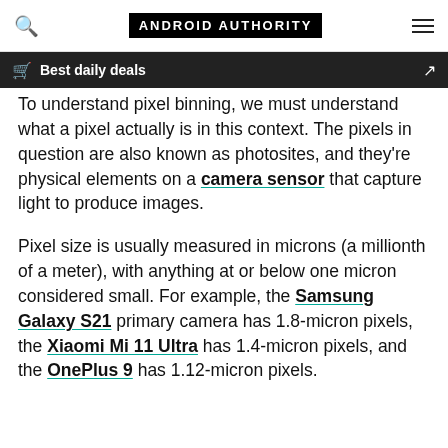ANDROID AUTHORITY
Best daily deals
To understand pixel binning, we must understand what a pixel actually is in this context. The pixels in question are also known as photosites, and they're physical elements on a camera sensor that capture light to produce images.
Pixel size is usually measured in microns (a millionth of a meter), with anything at or below one micron considered small. For example, the Samsung Galaxy S21 primary camera has 1.8-micron pixels, the Xiaomi Mi 11 Ultra has 1.4-micron pixels, and the OnePlus 9 has 1.12-micron pixels.